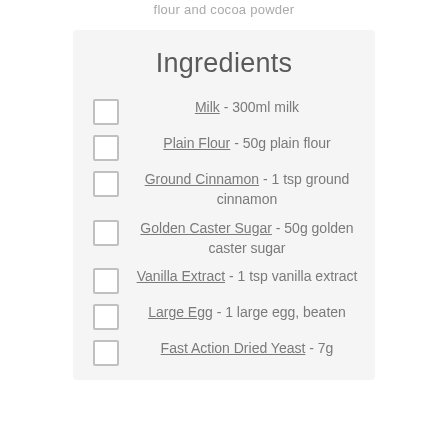flour and cocoa powder
Ingredients
Milk - 300ml milk
Plain Flour - 50g plain flour
Ground Cinnamon - 1 tsp ground cinnamon
Golden Caster Sugar - 50g golden caster sugar
Vanilla Extract - 1 tsp vanilla extract
Large Egg - 1 large egg, beaten
Fast Action Dried Yeast - 7g